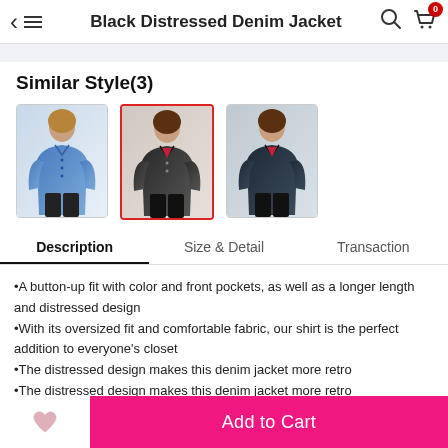Black Distressed Denim Jacket
Similar Style(3)
[Figure (photo): Three product thumbnail images of denim jackets: blue denim jacket (left), black distressed denim jacket with red border selected (center), dark denim jacket (right)]
Description | Size & Detail | Transaction (tabs)
•A button-up fit with color and front pockets, as well as a longer length and distressed design
•With its oversized fit and comfortable fabric, our shirt is the perfect addition to everyone's closet
•The distressed design makes this denim jacket more retro
•The distressed design makes this denim jacket more retro
•A great number of stylish dropship coats highly recommend to you